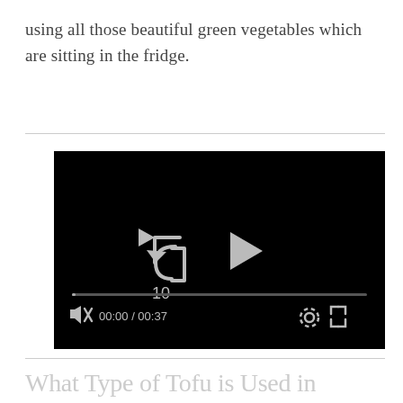using all those beautiful green vegetables which are sitting in the fridge.
[Figure (screenshot): Embedded video player with black background, showing a replay button with '10' label and a play button in the center. A progress bar is shown near the bottom. Controls show mute icon, 00:00 / 00:37 time, settings gear icon, and fullscreen icon.]
What Type of Tofu is Used in